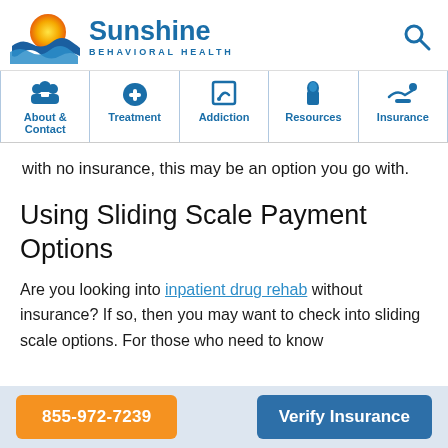[Figure (logo): Sunshine Behavioral Health logo with sun and waves icon]
[Figure (infographic): Navigation bar with icons: About & Contact, Treatment, Addiction, Resources, Insurance]
with no insurance, this may be an option you go with.
Using Sliding Scale Payment Options
Are you looking into inpatient drug rehab without insurance? If so, then you may want to check into sliding scale options. For those who need to know
855-972-7239   Verify Insurance